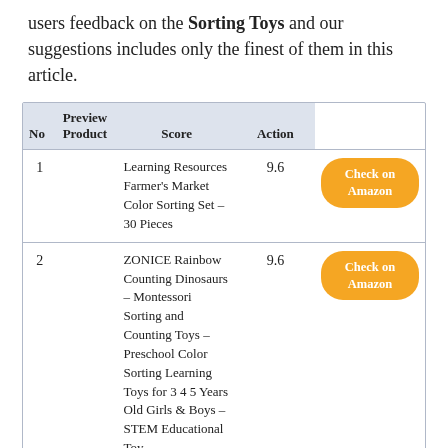users feedback on the Sorting Toys and our suggestions includes only the finest of them in this article.
| No | Preview Product | Score | Action |
| --- | --- | --- | --- |
| 1 | Learning Resources Farmer's Market Color Sorting Set – 30 Pieces | 9.6 | Check on Amazon |
| 2 | ZONICE Rainbow Counting Dinosaurs – Montessori Sorting and Counting Toys – Preschool Color Sorting Learning Toys for 3 4 5 Years Old Girls & Boys – STEM Educational Toy | 9.6 | Check on Amazon |